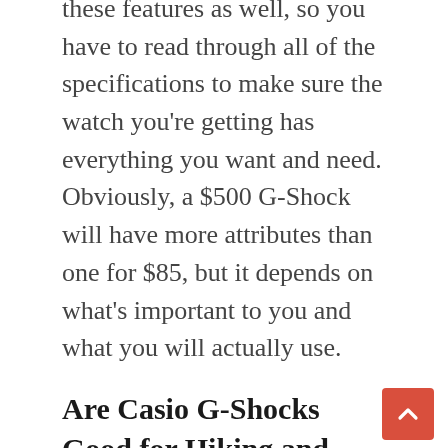these features as well, so you have to read through all of the specifications to make sure the watch you're getting has everything you want and need. Obviously, a $500 G-Shock will have more attributes than one for $85, but it depends on what's important to you and what you will actually use.
Are Casio G-Shocks Good for Hiking and Backpacking?
G-Shocks thrive in an outdoor environment. They're designed to go wherever you go and you won't have to worry about taking it off cross a stream or to do manual labor. There